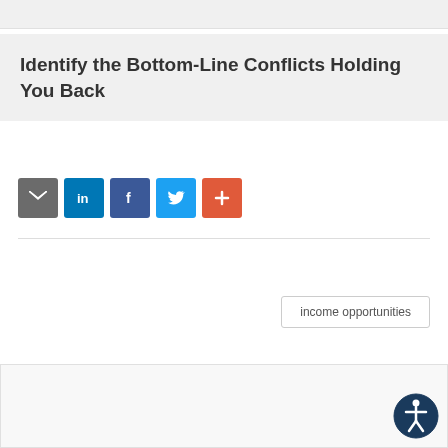Identify the Bottom-Line Conflicts Holding You Back
[Figure (infographic): Social sharing buttons: email (gray), LinkedIn (blue), Facebook (dark blue), Twitter (light blue), plus/more (orange-red)]
income opportunities